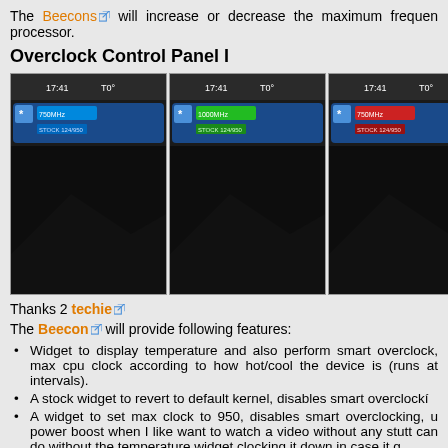The Beecons will increase or decrease the maximum frequency of the processor.
Overclock Control Panel I
[Figure (screenshot): Three smartphone screenshots showing Beecon widget panels with blue, green, and red frequency indicators on dark backgrounds]
Thanks 2 techie
The Beecon will provide following features:
Widget to display temperature and also perform smart overclock, max cpu clock according to how hot/cool the device is (runs at intervals).
A stock widget to revert to default kernel, disables smart overclocking
A widget to set max clock to 950, disables smart overclocking, u power boost when I like want to watch a video without any stutt can do without the temperature widget clocking it down in case it g
A widget to display the current maximum cpu frequency.
And yeah also, locking the device changes the limits to 250 500, enables the temperature widget so it clocks according to temperatu